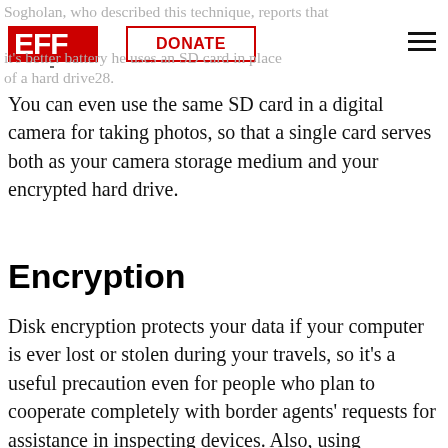Sogholan, who described this technique, reports that it's better battery he uses an SD card in place of a hard drive28.
You can even use the same SD card in a digital camera for taking photos, so that a single card serves both as your camera storage medium and your encrypted hard drive.
Encryption
Disk encryption protects your data if your computer is ever lost or stolen during your travels, so it's a useful precaution even for people who plan to cooperate completely with border agents' requests for assistance in inspecting devices. Also, using encryption can help ensure you know whether your computer was actually